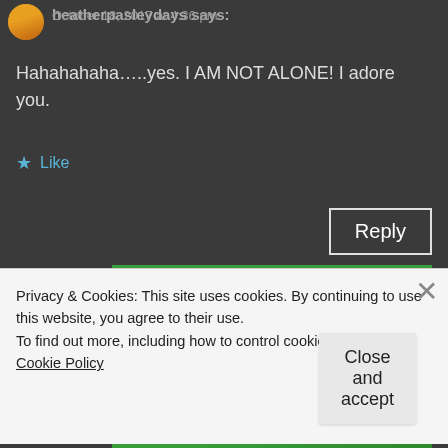heatherpasleydays:
October 18, 2017 at 4:36 pm
Hahahahaha.....yes. I AM NOT ALONE! I adore you.
★ Like
Reply
[Figure (infographic): Green WordPress advertisement banner reading 'Like an undo button for your WordPress site']
Privacy & Cookies: This site uses cookies. By continuing to use this website, you agree to their use.
To find out more, including how to control cookies, see here: Cookie Policy
Close and accept